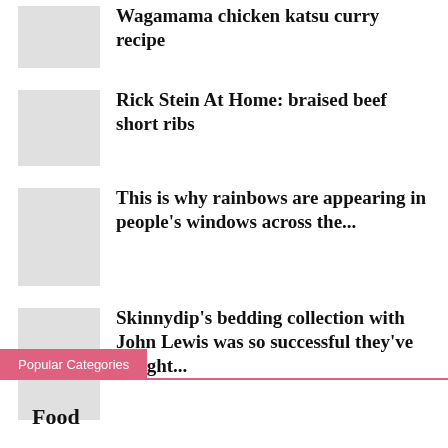Wagamama chicken katsu curry recipe
Rick Stein At Home: braised beef short ribs
This is why rainbows are appearing in people's windows across the...
Skinnydip's bedding collection with John Lewis was so successful they've bought...
Popular Categories
Food